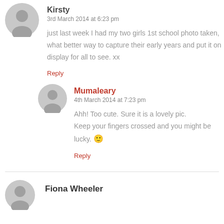Kirsty
3rd March 2014 at 6:23 pm
just last week I had my two girls 1st school photo taken, what better way to capture their early years and put it on display for all to see. xx
Reply
Mumaleary
4th March 2014 at 7:23 pm
Ahh! Too cute. Sure it is a lovely pic. Keep your fingers crossed and you might be lucky. 🙂
Reply
Fiona Wheeler